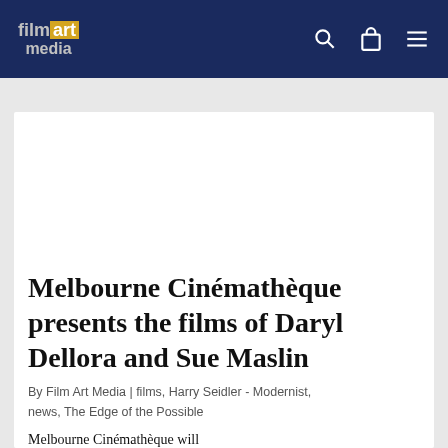film art media
Melbourne Cinémathèque presents the films of Daryl Dellora and Sue Maslin
By Film Art Media | films, Harry Seidler - Modernist, news, The Edge of the Possible
Melbourne Cinémathèque will